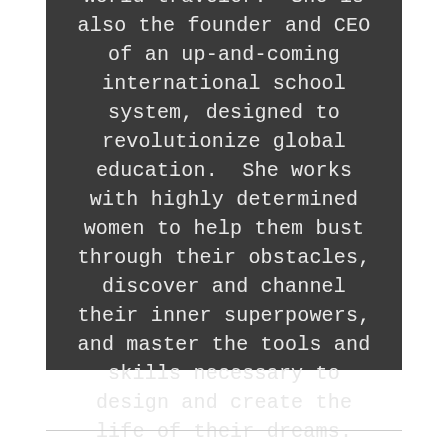success coach, athlete, student, dreamer, and world traveler.  She is also the founder and CEO of an up-and-coming international school system, designed to revolutionize global education.  She works with highly determined women to help them bust through their obstacles, discover and channel their inner superpowers, and master the tools and skills necessary to design and create the life of their dreams.